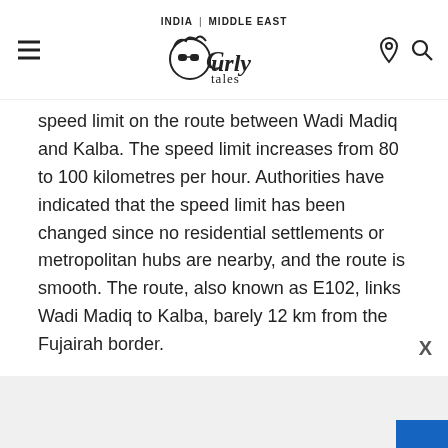INDIA | MIDDLE EAST — Curly Tales
speed limit on the route between Wadi Madiq and Kalba. The speed limit increases from 80 to 100 kilometres per hour. Authorities have indicated that the speed limit has been changed since no residential settlements or metropolitan hubs are nearby, and the route is smooth. The route, also known as E102, links Wadi Madiq to Kalba, barely 12 km from the Fujairah border.
[Figure (other): Large blue open quotation mark decoration followed by a loading placeholder with circular avatar and two grey loading bar lines below]